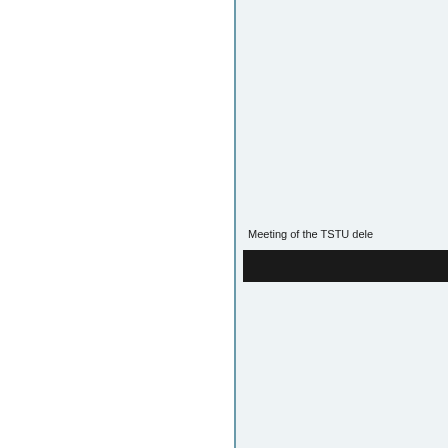Meeting of the TSTU dele
[Figure (other): Dark/black horizontal bar element below the caption text]